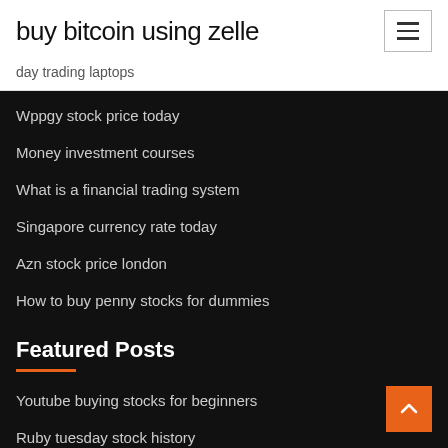buy bitcoin using zelle
day trading laptops
Wppgy stock price today
Money investment courses
What is a financial trading system
Singapore currency rate today
Azn stock price london
How to buy penny stocks for dummies
Featured Posts
Youtube buying stocks for beginners
Ruby tuesday stock history